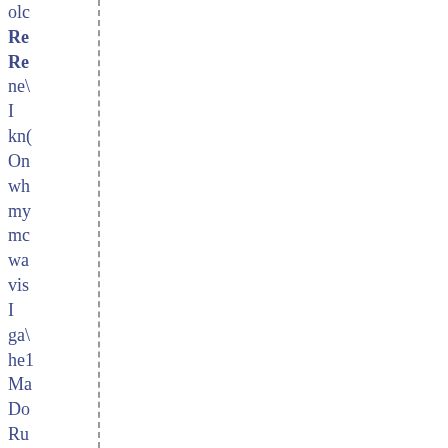old
Re
Re
new
I
know
One
wh
my
more
was
vis
I
gave
her
Ma
Do
Ru
Th